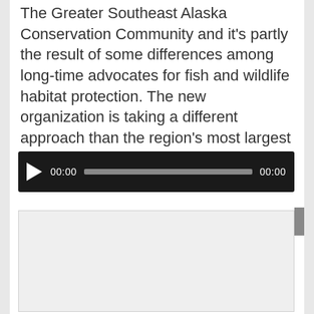The Greater Southeast Alaska Conservation Community and it's partly the result of some differences among long-time advocates for fish and wildlife habitat protection. The new organization is taking a different approach than the region's most largest conservation group, though there is common ground as well.
[Figure (other): Audio player with play button, 00:00 start time, progress bar, and 00:00 end time on a dark background]
[Figure (other): Light gray placeholder image or advertisement box]